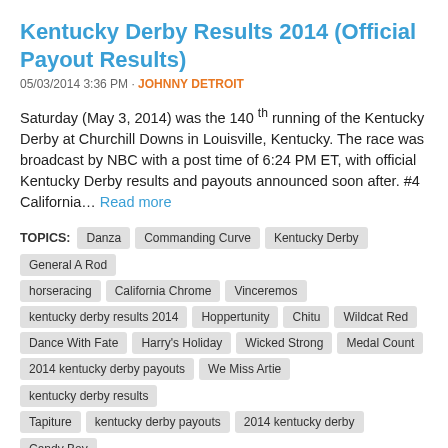Kentucky Derby Results 2014 (Official Payout Results)
05/03/2014 3:36 PM · JOHNNY DETROIT
Saturday (May 3, 2014) was the 140 th running of the Kentucky Derby at Churchill Downs in Louisville, Kentucky. The race was broadcast by NBC with a post time of 6:24 PM ET, with official Kentucky Derby results and payouts announced soon after. #4 California... Read more
TOPICS: Danza, Commanding Curve, Kentucky Derby, General A Rod, horseracing, California Chrome, Vinceremos, kentucky derby results 2014, Hoppertunity, Chitu, Wildcat Red, Dance With Fate, Harry's Holiday, Wicked Strong, Medal Count, 2014 kentucky derby payouts, We Miss Artie, kentucky derby results, Tapiture, kentucky derby payouts, 2014 kentucky derby, Candy Boy, Vicar's In Trouble, Intense Holiday, Ride On Curlin
0 COMMENTS
# SHARES
2014 Kentucky Derby Payouts Results Win...